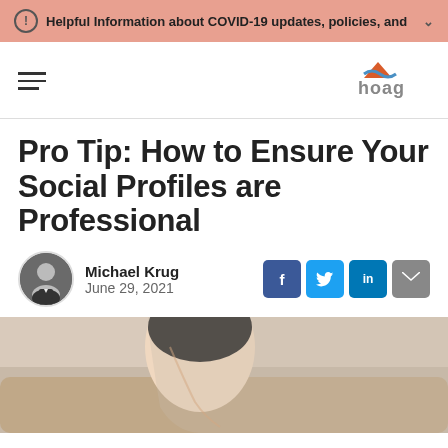Helpful Information about COVID-19 updates, policies, and
[Figure (logo): Hoag hospital logo with orange mountain/wave icon and 'hoag' text]
Pro Tip: How to Ensure Your Social Profiles are Professional
Michael Krug
June 29, 2021
[Figure (photo): Close-up photo of an Asian woman with dark hair pulled back, looking downward, seated on a couch]